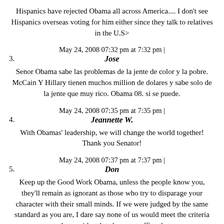Hispanics have rejected Obama all across America.... I don't see Hispanics overseas voting for him either since they talk to relatives in the U.S>
May 24, 2008 07:32 pm at 7:32 pm |
3. Jose
Senor Obama sabe las problemas de la jente de color y la pobre. McCain Y Hillary tienen muchos million de dolares y sabe solo de la jente que muy rico. Obama 08. si se puede.
May 24, 2008 07:35 pm at 7:35 pm |
4. Jeannette W.
With Obamas' leadership, we will change the world together! Thank you Senator!
May 24, 2008 07:37 pm at 7:37 pm |
5. Don
Keep up the Good Work Obama, unless the people know you, they'll remain as ignorant as those who try to disparage your character with their small minds. If we were judged by the same standard as you are, I dare say none of us would meet the criteria to be president let alone any office that